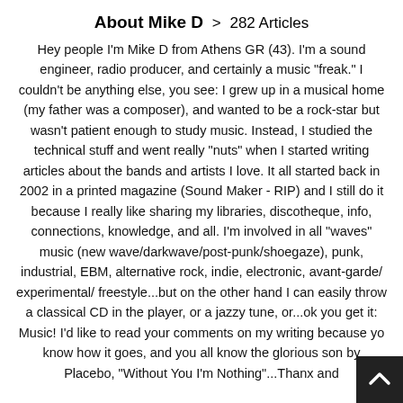About Mike D > 282 Articles
Hey people I'm Mike D from Athens GR (43). I'm a sound engineer, radio producer, and certainly a music "freak." I couldn't be anything else, you see: I grew up in a musical home (my father was a composer), and wanted to be a rock-star but wasn't patient enough to study music. Instead, I studied the technical stuff and went really "nuts" when I started writing articles about the bands and artists I love. It all started back in 2002 in a printed magazine (Sound Maker - RIP) and I still do it because I really like sharing my libraries, discotheque, info, connections, knowledge, and all. I'm involved in all "waves" music (new wave/darkwave/post-punk/shoegaze), punk, industrial, EBM, alternative rock, indie, electronic, avant-garde/ experimental/ freestyle...but on the other hand I can easily throw a classical CD in the player, or a jazzy tune, or...ok you get it: Music! I'd like to read your comments on my writing because you know how it goes, and you all know the glorious song by Placebo, "Without You I'm Nothing"...Thanx and